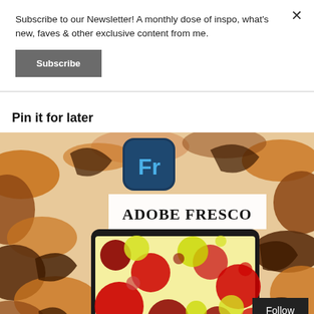Subscribe to our Newsletter! A monthly dose of inspo, what's new, faves & other exclusive content from me.
Subscribe
Pin it for later
[Figure (illustration): Adobe Fresco promotional image showing the Fr app icon on a dark teal rounded square background, text 'ADOBE FRESCO' in bold serif font on white banner, iPad showing colorful abstract circles artwork, surrounded by orange and brown abstract swirling shapes.]
Follow